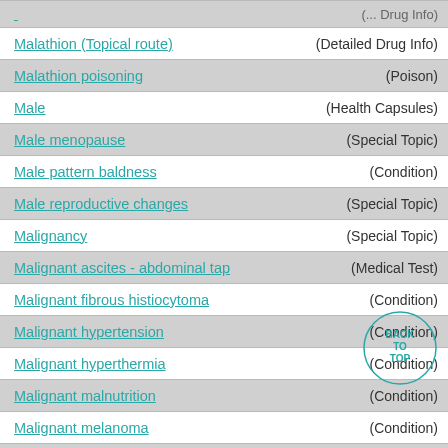Malathion (Topical route) — (Detailed Drug Info)
Malathion poisoning — (Poison)
Male — (Health Capsules)
Male menopause — (Special Topic)
Male pattern baldness — (Condition)
Male reproductive changes — (Special Topic)
Malignancy — (Special Topic)
Malignant ascites - abdominal tap — (Medical Test)
Malignant fibrous histiocytoma — (Condition)
Malignant hypertension — (Condition)
Malignant hyperthermia — (Condition)
Malignant malnutrition — (Condition)
Malignant melanoma — (Condition)
Malignant melanoma - choroid — (Condition)